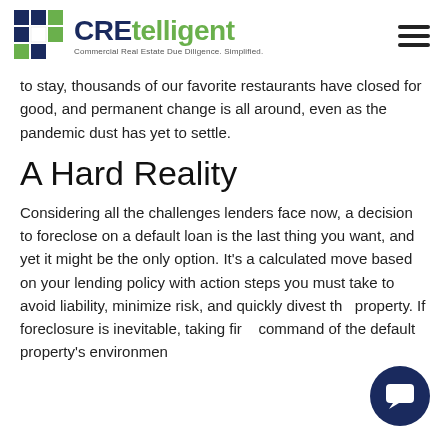CREtelligent — Commercial Real Estate Due Diligence. Simplified.
to stay, thousands of our favorite restaurants have closed for good, and permanent change is all around, even as the pandemic dust has yet to settle.
A Hard Reality
Considering all the challenges lenders face now, a decision to foreclose on a default loan is the last thing you want, and yet it might be the only option. It's a calculated move based on your lending policy with action steps you must take to avoid liability, minimize risk, and quickly divest the property. If foreclosure is inevitable, taking firm command of the default property's environmental...